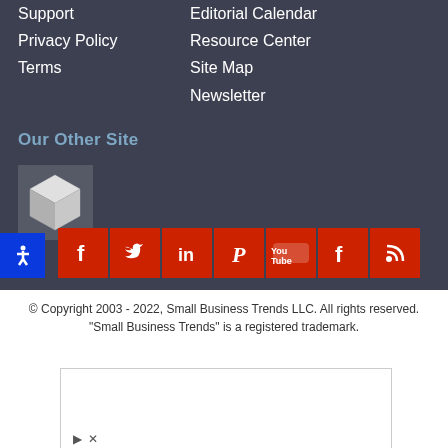Support
Editorial Calendar
Privacy Policy
Resource Center
Terms
Site Map
Newsletter
Our Other Site
[Figure (logo): White 3D cube logo on gray background]
[Figure (infographic): Social media icons row: Facebook, Twitter, LinkedIn, Pinterest, YouTube, Flipboard, RSS]
© Copyright 2003 - 2022, Small Business Trends LLC. All rights reserved. "Small Business Trends" is a registered trademark.
[Figure (screenshot): CVS Pharmacy advertisement: Buy One, Get One 50% Off CVS]